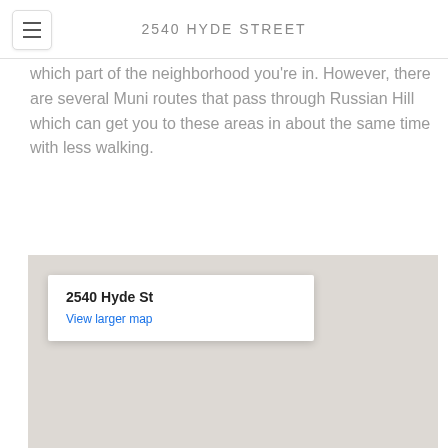2540 HYDE STREET
which part of the neighborhood you're in. However, there are several Muni routes that pass through Russian Hill which can get you to these areas in about the same time with less walking.
[Figure (map): Embedded Google Map showing 2540 Hyde St with a popup card displaying the address '2540 Hyde St' and a 'View larger map' link. The map background is a light gray/beige color indicating a simplified street map view.]